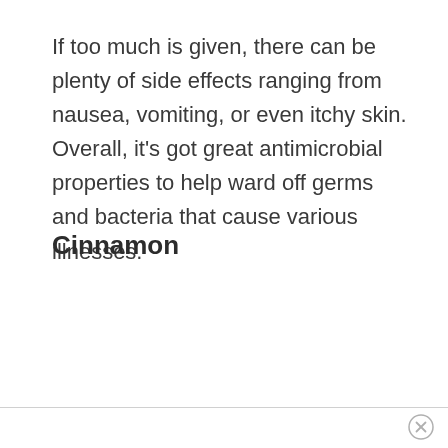If too much is given, there can be plenty of side effects ranging from nausea, vomiting, or even itchy skin. Overall, it’s got great antimicrobial properties to help ward off germs and bacteria that cause various illnesses.
Cinnamon